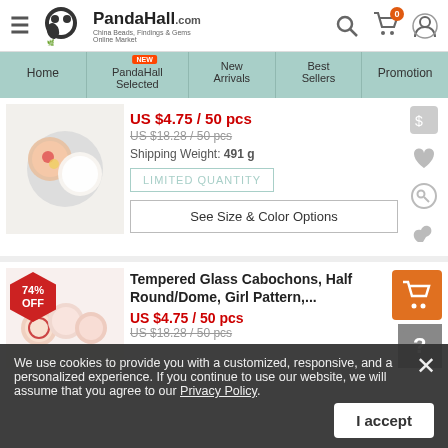[Figure (screenshot): PandaHall.com website header with logo, hamburger menu, search, cart and account icons]
[Figure (screenshot): Navigation bar with Home, PandaHall Selected (NEW badge), New Arrivals, Best Sellers, Promotion]
US $4.75 / 50 pcs
US $18.28 / 50 pcs (strikethrough)
Shipping Weight: 491 g
LIMITED QUANTITY
See Size & Color Options
Tempered Glass Cabochons, Half Round/Dome, Girl Pattern,...
US $4.75 / 50 pcs
US $18.28 / 50 pcs (strikethrough)
We use cookies to provide you with a customized, responsive, and a personalized experience. If you continue to use our website, we will assume that you agree to our Privacy Policy.